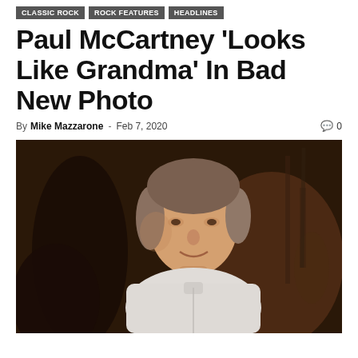Classic Rock | Rock Features | Headlines
Paul McCartney 'Looks Like Grandma' In Bad New Photo
By Mike Mazzarone - Feb 7, 2020  💬 0
[Figure (photo): Paul McCartney seated, wearing a white collarless shirt, with shoulder-length gray-brown hair, smiling slightly, in front of a dark background with guitars visible]